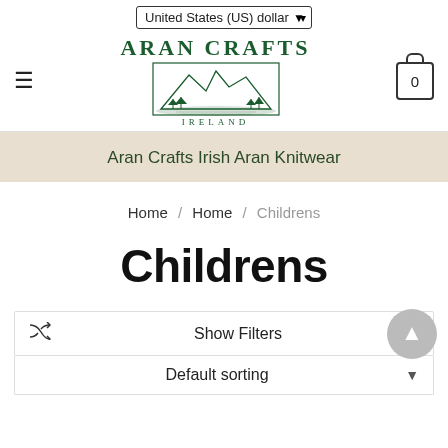United States (US) dollar
[Figure (logo): Aran Crafts Ireland logo with mountain and trees illustration]
Aran Crafts Irish Aran Knitwear
Home / Home / Childrens
Childrens
Show Filters
Default sorting